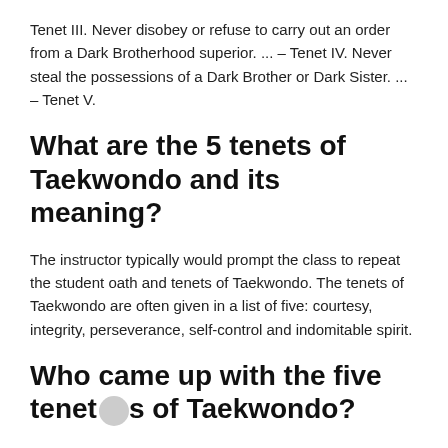Tenet III. Never disobey or refuse to carry out an order from a Dark Brotherhood superior. ... – Tenet IV. Never steal the possessions of a Dark Brother or Dark Sister. ... – Tenet V.
What are the 5 tenets of Taekwondo and its meaning?
The instructor typically would prompt the class to repeat the student oath and tenets of Taekwondo. The tenets of Taekwondo are often given in a list of five: courtesy, integrity, perseverance, self-control and indomitable spirit.
Who came up with the five tenets of Taekwondo?